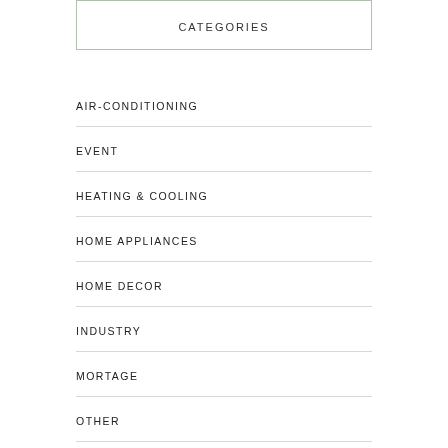CATEGORIES
AIR-CONDITIONING
EVENT
HEATING & COOLING
HOME APPLIANCES
HOME DECOR
INDUSTRY
MORTAGE
OTHER